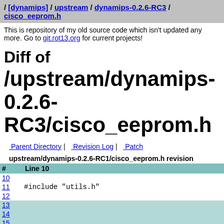/ [dynamips] / upstream / dynamips-0.2.6-RC3 / cisco_eeprom.h
This is repository of my old source code which isn't updated any more. Go to git.rot13.org for current projects!
Diff of
/upstream/dynamips-0.2.6-RC3/cisco_eeprom.h
Parent Directory | Revision Log | Patch
upstream/dynamips-0.2.6-RC1/cisco_eeprom.h revision
| # | Line 10 |
| --- | --- |
| 10 |  |
| 11 | #include "utils.h" |
| 12 |  |
| 13 |  |
| 14 |  |
| 15 |  |